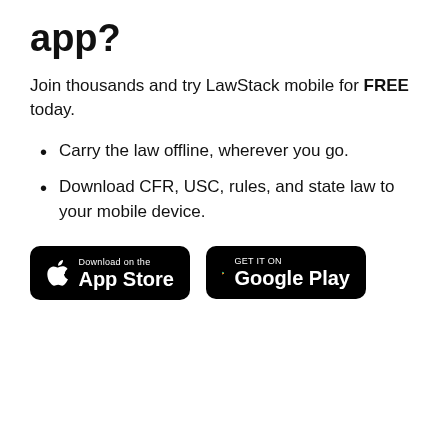app?
Join thousands and try LawStack mobile for FREE today.
Carry the law offline, wherever you go.
Download CFR, USC, rules, and state law to your mobile device.
[Figure (other): Download on the App Store button (black rounded rectangle with Apple logo)]
[Figure (other): Get it on Google Play button (black rounded rectangle with Google Play triangle logo)]